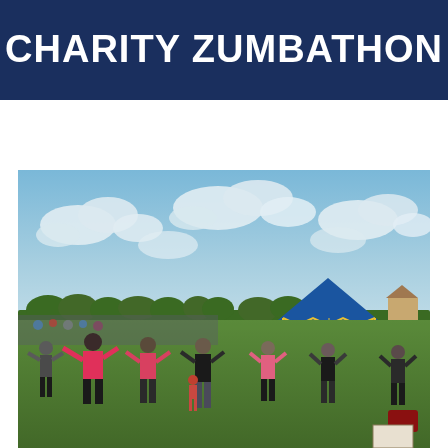CHARITY ZUMBATHON
[Figure (photo): Outdoor charity Zumbathon event on a grass field. Multiple participants in pink and black athletic wear performing dance/exercise moves in unison on a large green lawn. Background shows a blue circus-style tent, trees, houses, and a crowd of onlookers under a partly cloudy blue sky.]